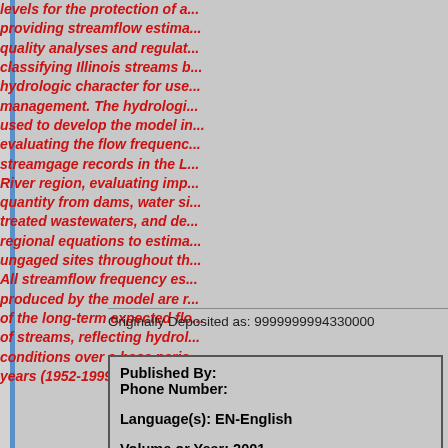levels for the protection of aquatic life, providing streamflow estimates for water-quality analyses and regulations, classifying Illinois streams by their hydrologic character for use in water management. The hydrologic data set used to develop the model included evaluating the flow frequency of streamgage records in the Lake Michigan River region, evaluating impacts on quantity from dams, water supply, treated wastewaters, and developing regional equations to estimate flows at ungaged sites throughout the state. All streamflow frequency estimates produced by the model are reflective of the long-term expected flow conditions of streams, reflecting hydrologic conditions over a base period of 48 years (1952-1999).
Originally Deposited as: 9999999994330000
| Published By: |  |
| Phone Number: |  |
| Language(s): EN-English |  |
| Volume or Year: 2001 |  |